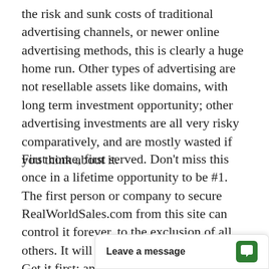the risk and sunk costs of traditional advertising channels, or newer online advertising methods, this is clearly a huge home run. Other types of advertising are not resellable assets like domains, with long term investment opportunity; other advertising investments are all very risky comparatively, and are mostly wasted if you think about it.
First come, first served. Don't miss this once in a lifetime opportunity to be #1. The first person or company to secure RealWorldSales.com from this site can control it forever, to the exclusion of all others. It will become out of our control. Get it first; and get ranked first in Google! All that matters online is Location Location Location! Your Domain is Your Location! and brand, and future profits; dont shortchange it obviou[sly. Direct domain traffic to your...